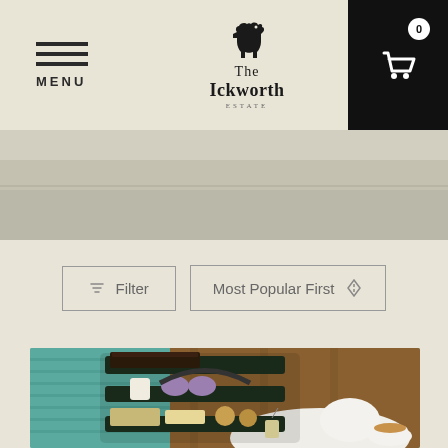MENU | The Ickworth Estate | Cart (0)
[Figure (screenshot): Muted olive/grey banner image background, partially visible landscape]
Filter
Most Popular First
[Figure (photo): Afternoon tea stand with macarons, scones, sandwiches, pastries, and a teapot on a white table]